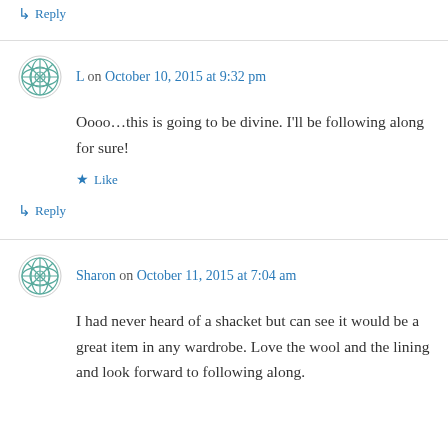↳ Reply
L on October 10, 2015 at 9:32 pm
Oooo…this is going to be divine. I'll be following along for sure!
Like
↳ Reply
Sharon on October 11, 2015 at 7:04 am
I had never heard of a shacket but can see it would be a great item in any wardrobe. Love the wool and the lining and look forward to following along.